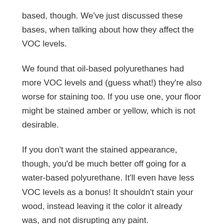based, though. We've just discussed these bases, when talking about how they affect the VOC levels.
We found that oil-based polyurethanes had more VOC levels and (guess what!) they're also worse for staining too. If you use one, your floor might be stained amber or yellow, which is not desirable.
If you don't want the stained appearance, though, you'd be much better off going for a water-based polyurethane. It'll even have less VOC levels as a bonus! It shouldn't stain your wood, instead leaving it the color it already was, and not disrupting any paint.
Looking At Other Types Of